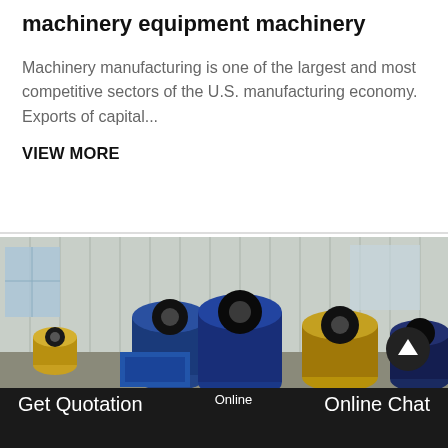machinery equipment machinery
Machinery manufacturing is one of the largest and most competitive sectors of the U.S. manufacturing economy. Exports of capital...
VIEW MORE
[Figure (photo): Industrial machinery photo showing large cable reels/spools (blue and gold/bronze colored) arranged in a warehouse or factory setting with corrugated metal walls and natural light from windows.]
Get Quotation    Online    Online Chat